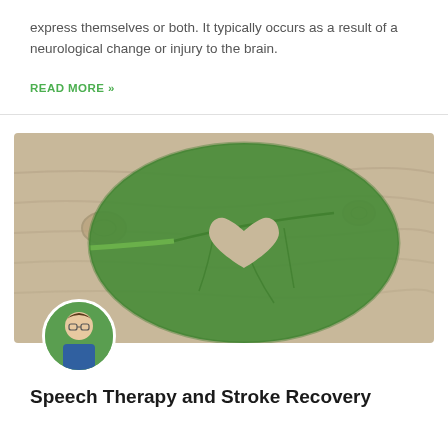express themselves or both. It typically occurs as a result of a neurological change or injury to the brain.
READ MORE »
[Figure (photo): A large green leaf with a heart-shaped cutout lying on a wooden surface, with a circular profile photo of a woman with glasses overlaid at the bottom left]
Speech Therapy and Stroke Recovery